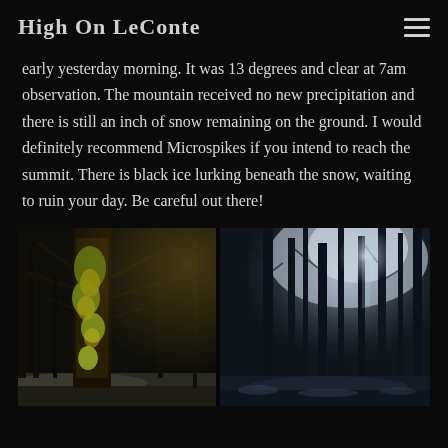High On LeConte
early yesterday morning. It was 13 degrees and clear at 7am observation. The mountain received no new precipitation and there is still an inch of snow remaining on the ground. I would definitely recommend Microspikes if you intend to reach the summit. There is black ice lurking beneath the snow, waiting to ruin your day. Be careful out there!
[Figure (photo): Winter forest scene with snow on the ground. Left side shows a moss-covered tree trunk with bare branches in warm/golden light. Right side shows misty forest with tall dark tree trunks and bright backlight filtering through the canopy, snow visible on the ground.]